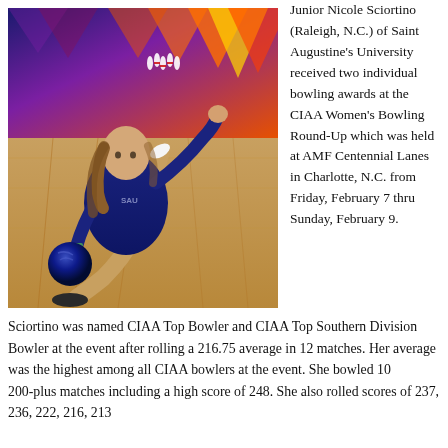[Figure (photo): A female college bowler in a navy polo shirt and khaki pants, in the bowling delivery stance, holding a dark bowling ball on a bowling lane. Colorful pin decorations and bowling pins visible in background.]
Junior Nicole Sciortino (Raleigh, N.C.) of Saint Augustine's University received two individual bowling awards at the CIAA Women's Bowling Round-Up which was held at AMF Centennial Lanes in Charlotte, N.C. from Friday, February 7 thru Sunday, February 9.
Sciortino was named CIAA Top Bowler and CIAA Top Southern Division Bowler at the event after rolling a 216.75 average in 12 matches. Her average was the highest among all CIAA bowlers at the event. She bowled 10 200-plus matches including a high score of 248. She also rolled scores of 237, 236, 222, 216, 213